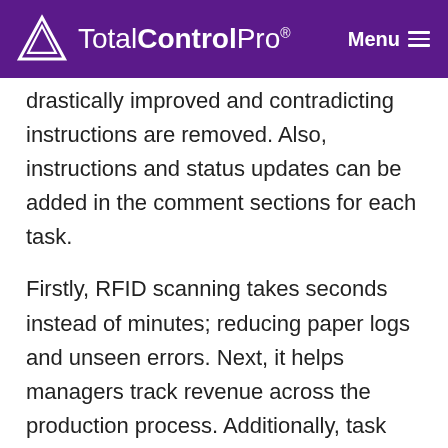TotalControlPro® Menu
drastically improved and contradicting instructions are removed. Also, instructions and status updates can be added in the comment sections for each task.
Firstly, RFID scanning takes seconds instead of minutes; reducing paper logs and unseen errors. Next, it helps managers track revenue across the production process. Additionally, task